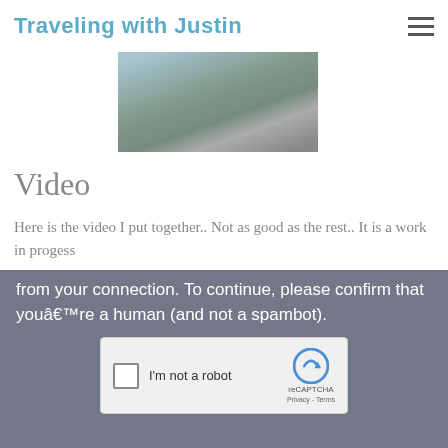Traveling with Justin
[Figure (photo): Aerial view of a ship or vessel at a dock, with machinery and green water visible]
Video
Here is the video I put together.. Not as good as the rest.. It is a work in progess
from your connection. To continue, please confirm that youâ€™re a human (and not a spambot).
[Figure (screenshot): reCAPTCHA widget with checkbox labeled I'm not a robot, reCAPTCHA logo, Privacy and Terms links]